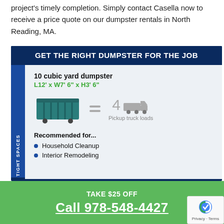project's timely completion. Simply contact Casella now to receive a price quote on our dumpster rentals in North Reading, MA.
GET THE RIGHT DUMPSTER FOR THE JOB
[Figure (infographic): 10 cubic yard dumpster infographic showing dimensions L12' x W7' 6" x H3' 6" with teal dumpster icon equaling 4 pickup truck loads. Includes side label 'TIGHT SPACES'. Recommended for: Household Cleanup, Interior Remodeling.]
TAKE $25 OFF
Call 978-548-4427